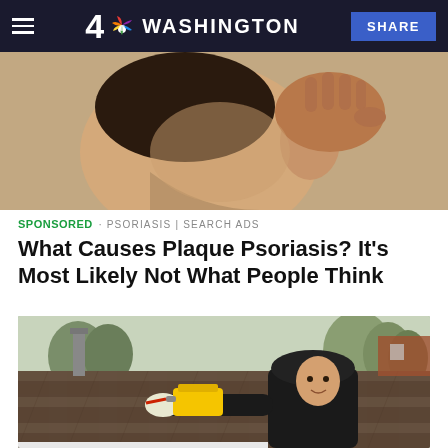4 NBC WASHINGTON   SHARE
[Figure (photo): Close-up of a person scratching the back of their neck/head with their hand, showing skin irritation consistent with psoriasis.]
SPONSORED · PSORIASIS | SEARCH ADS
What Causes Plaque Psoriasis? It's Most Likely Not What People Think
[Figure (photo): A man in a black hoodie applying caulk or sealant with a yellow caulk gun along the edge of a roof covered with brown shingles, with bare trees and a brick house visible in the background.]